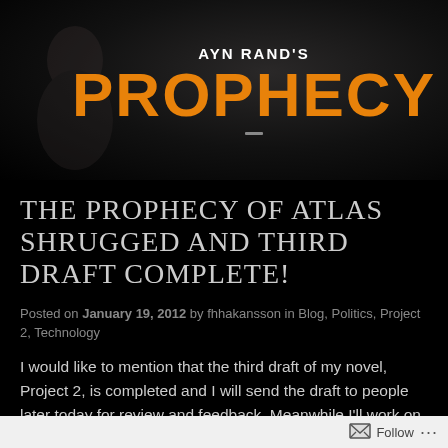[Figure (illustration): Dark background image showing a face in shadow with text overlay: 'AYN RAND'S' in white and 'PROPHECY' in large orange bold letters]
THE PROPHECY OF ATLAS SHRUGGED AND THIRD DRAFT COMPLETE!
Posted on January 19, 2012 by fhhakansson in Blog, Politics, Project 2, Technology
I would like to mention that the third draft of my novel, Project 2, is completed and I will send the draft to people later today for review and feedback. Meanwhile I'll work on my query letter. It truly feels
Follow